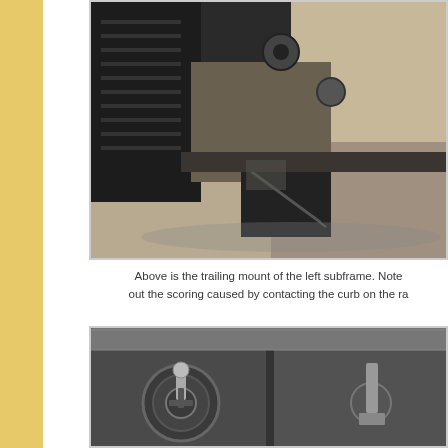[Figure (photo): Close-up photograph of the trailing mount of the left subframe, showing scoring/scraping marks on the rubber bushing and metal bracket caused by contact with a curb.]
Above is the trailing mount of the left subframe. Note out the scoring caused by contacting the curb on the ra
[Figure (photo): Close-up photograph of a subframe mount/bracket showing mounting hardware including bolts, nuts, and metal components with weathering and rust.]